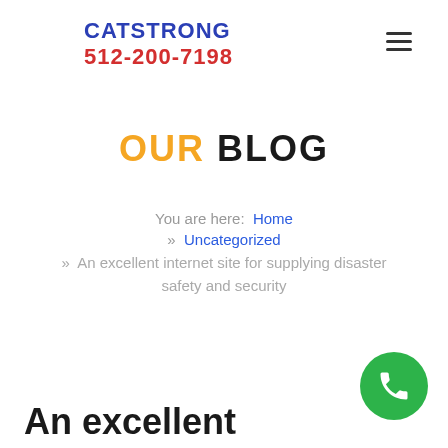CATSTRONG 512-200-7198
OUR BLOG
You are here: Home » Uncategorized » An excellent internet site for supplying disaster safety and security
An excellent
[Figure (other): Green circular phone call floating action button in bottom right corner]